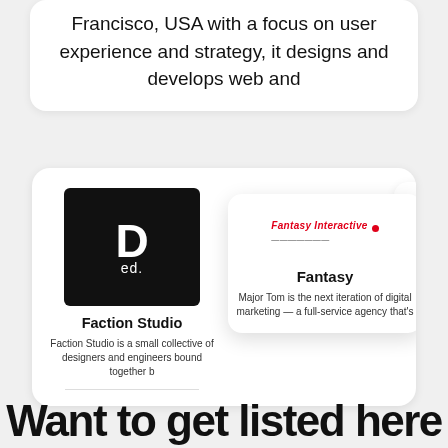Francisco, USA with a focus on user experience and strategy, it designs and develops web and
[Figure (screenshot): Screenshot of a directory listing showing three agency cards: Faction Studio (with black logo featuring 'ed.' text), Fantasy Interactive (with red italic logo), and Huemor (with colorful circular logo and HUEMOR wordmark). Each card shows agency name and truncated description.]
Want to get listed here